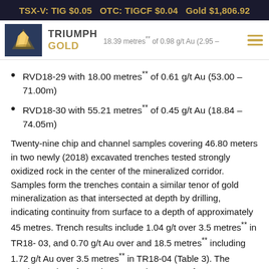TSX-V: TIG $0.05  OTC: TIGCF $0.04  Gold $1,806.92
[Figure (logo): Triumph Gold logo with dark blue background and gold nugget image, with company name TRIUMPH GOLD beside it]
18.39 metres** of 0.98 g/t Au (2.95 –
RVD18-29 with 18.00 metres** of 0.61 g/t Au (53.00 – 71.00m)
RVD18-30 with 55.21 metres** of 0.45 g/t Au (18.84 – 74.05m)
Twenty-nine chip and channel samples covering 46.80 meters in two newly (2018) excavated trenches tested strongly oxidized rock in the center of the mineralized corridor. Samples form the trenches contain a similar tenor of gold mineralization as that intersected at depth by drilling, indicating continuity from surface to a depth of approximately 45 metres. Trench results include 1.04 g/t over 3.5 metres** in TR18- 03, and 0.70 g/t Au over and 18.5 metres** including 1.72 g/t Au over 3.5 metres** in TR18-04 (Table 3). The southern edge of trench TR18-04 has some of